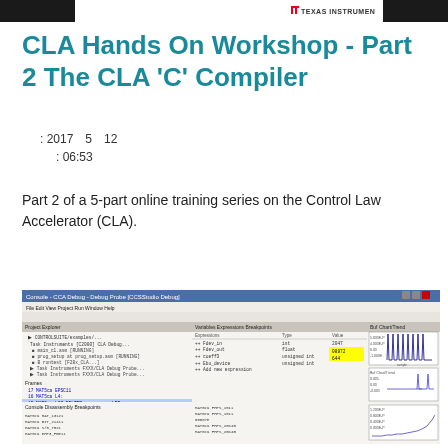Texas Instruments
CLA Hands On Workshop - Part 2 The CLA 'C' Compiler
: 2017 5 12
: 06:53
Part 2 of a 5-part online training series on the Control Law Accelerator (CLA).
[Figure (screenshot): Screenshot of a software development environment (Code Composer Studio) showing CLA C compiler debug session with assembly listings, variable watch windows showing highlighted values, and two oscilloscope-style waveform plots on the right side.]